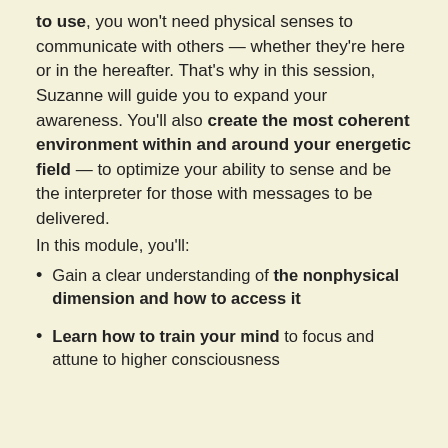to use, you won't need physical senses to communicate with others — whether they're here or in the hereafter. That's why in this session, Suzanne will guide you to expand your awareness. You'll also create the most coherent environment within and around your energetic field — to optimize your ability to sense and be the interpreter for those with messages to be delivered.
In this module, you'll:
Gain a clear understanding of the nonphysical dimension and how to access it
Learn how to train your mind to focus and attune to higher consciousness